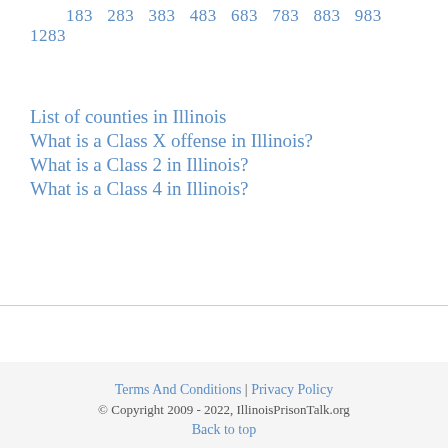183  283  383  483  683  783  883  983  1283
List of counties in Illinois
What is a Class X offense in Illinois?
What is a Class 2 in Illinois?
What is a Class 4 in Illinois?
Terms And Conditions | Privacy Policy
© Copyright 2009 - 2022, IllinoisPrisonTalk.org
Back to top